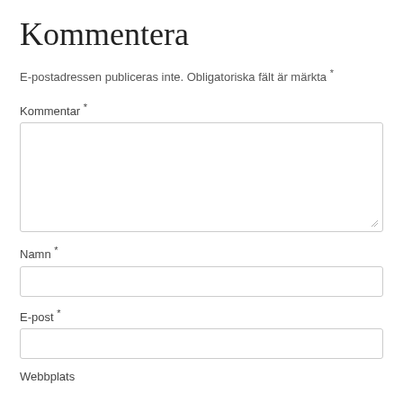Kommentera
E-postadressen publiceras inte. Obligatoriska fält är märkta *
Kommentar *
[Figure (other): Large text area input box for comment]
Namn *
[Figure (other): Single-line text input box for name]
E-post *
[Figure (other): Single-line text input box for email]
Webbplats